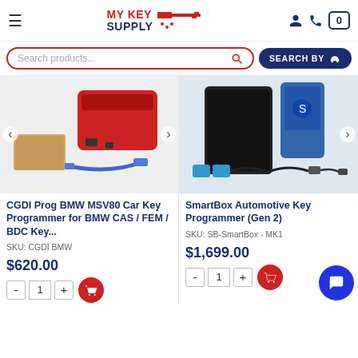MY KEY SUPPLY
Search products...
[Figure (photo): CGDI Prog BMW MSV80 Car Key Programmer - red device with USB cable and box]
CGDI Prog BMW MSV80 Car Key Programmer for BMW CAS / FEM / BDC Key...
SKU: CGDI BMW
$620.00
[Figure (photo): SmartBox Automotive Key Programmer Gen 2 - blue handheld device with tablet and accessories]
SmartBox Automotive Key Programmer (Gen 2)
SKU: SB-SmartBox - MK1
$1,699.00